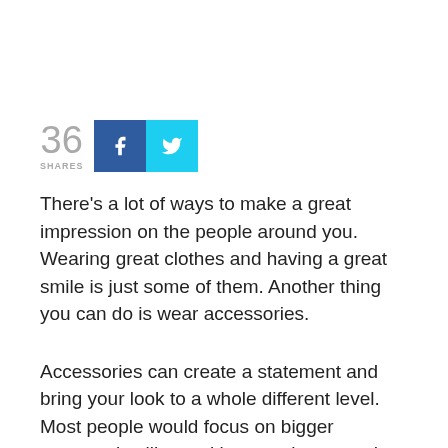[Figure (infographic): Share count showing '36 SHARES' with Facebook (blue) and Twitter (cyan) share buttons]
There’s a lot of ways to make a great impression on the people around you. Wearing great clothes and having a great smile is just some of them. Another thing you can do is wear accessories.
Accessories can create a statement and bring your look to a whole different level. Most people would focus on bigger accessories like necklaces or bags, as they are readily seen by the people around them. One of the most overlooked accessories is the earring. Just